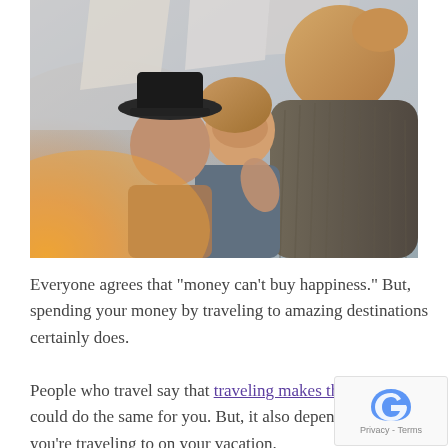[Figure (photo): Three young women laughing and embracing outdoors, with warm golden sunlight in the background. One wears a black wide-brim hat. The women appear happy and joyful.]
Everyone agrees that "money can't buy happiness." But, spending your money by traveling to amazing destinations certainly does.
People who travel say that traveling makes them happier. It could do the same for you. But, it also depends on where you're traveling to on your vacation.